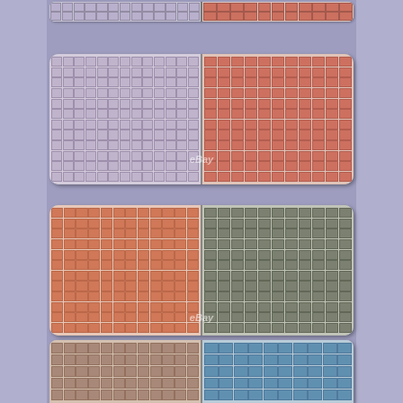[Figure (photo): eBay listing photo showing multiple sheets of vintage postage stamps arranged vertically. The stamps appear to be historical German stamps showing portrait designs. Multiple color varieties are shown: lilac/purple, red/salmon, orange-red, dark grey/green, brown, and blue. The sheets are displayed in pairs side by side, arranged in three main groups from top to bottom. An eBay watermark is visible on several of the stamp sheets.]